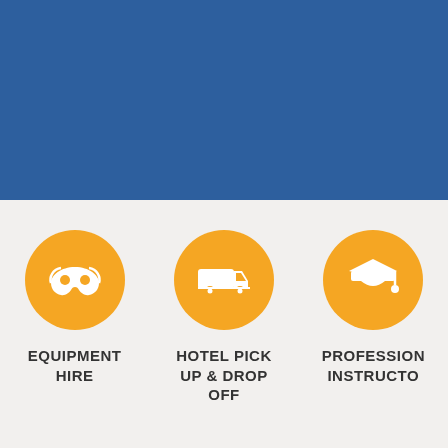[Figure (infographic): Blue rectangular banner background filling the top portion of the page]
[Figure (infographic): Three orange circular icons with white symbols and bold uppercase labels below. First icon: mask symbol labeled EQUIPMENT HIRE. Second icon: pickup truck labeled HOTEL PICK UP & DROP OFF. Third icon: graduation cap labeled PROFESSIONAL INSTRUCTOR.]